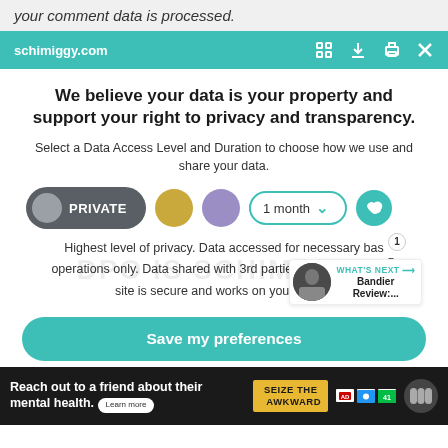your comment data is processed.
[Figure (screenshot): Browser toolbar showing schimiggy.com URL with teal background and browser action icons]
We believe your data is your property and support your right to privacy and transparency.
Select a Data Access Level and Duration to choose how we use and share your data.
[Figure (infographic): Privacy controls row showing PRIVATE button (dark gray pill with circle icon), gold dot, purple dot, 1 month dropdown with teal border, and teal heart button]
Highest level of privacy. Data accessed for necessary bas operations only. Data shared with 3rd parties to ensure the site is secure and works on your device
[Figure (screenshot): Save my preferences teal button]
[Figure (infographic): Ad bar: Reach out to a friend about their mental health. Learn more. SEIZE THE AWKWARD badge with media icons.]